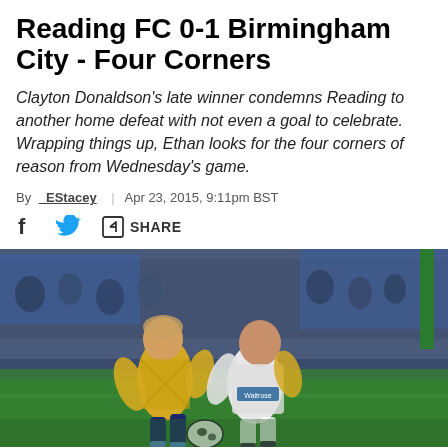Reading FC 0-1 Birmingham City - Four Corners
Clayton Donaldson's late winner condemns Reading to another home defeat with not even a goal to celebrate. Wrapping things up, Ethan looks for the four corners of reason from Wednesday's game.
By _EStacey | Apr 23, 2015, 9:11pm BST
[Figure (photo): Two football players battling for the ball during Reading FC vs Birmingham City match. Player in yellow Birmingham City kit and player in white Reading kit with Waitrose sponsor.]